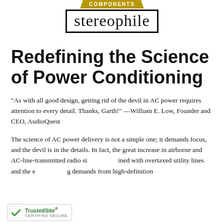[Figure (logo): Stereophile 'Recommended Components' logo: gold ribbon banner reading 'COMPONENTS' above the Stereophile wordmark in a bordered box]
Redefining the Science of Power Conditioning
“As with all good design, getting rid of the devil in AC power requires attention to every detail. Thanks, Garth!” —William E. Low, Founder and CEO, AudioQuest
The science of AC power delivery is not a simple one; it demands focus, and the devil is in the details. In fact, the great increase in airborne and AC-line-transmitted radio signals combined with overtaxed utility lines and the ever-increasing demands from high-definition